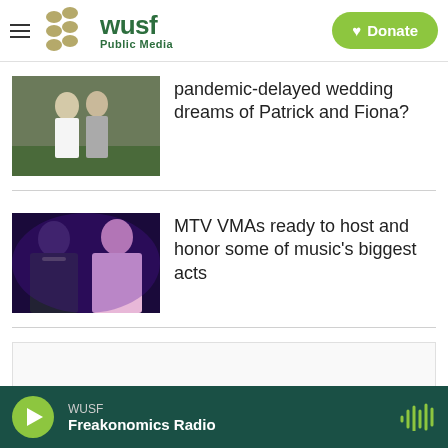WUSF Public Media — Donate
pandemic-delayed wedding dreams of Patrick and Fiona?
MTV VMAs ready to host and honor some of music's biggest acts
WUSF — Freakonomics Radio